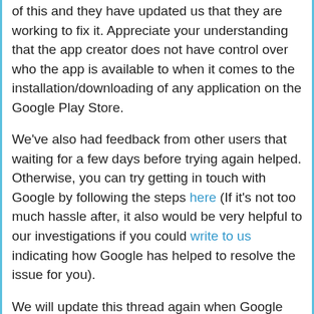of this and they have updated us that they are working to fix it. Appreciate your understanding that the app creator does not have control over who the app is available to when it comes to the installation/downloading of any application on the Google Play Store.
We've also had feedback from other users that waiting for a few days before trying again helped. Otherwise, you can try getting in touch with Google by following the steps here (If it's not too much hassle after, it also would be very helpful to our investigations if you could write to us indicating how Google has helped to resolve the issue for you).
We will update this thread again when Google comes back with a fix, in the meantime, if you are a subscriber, please use the Casting feature to view Viki on your TV, or from our other supported